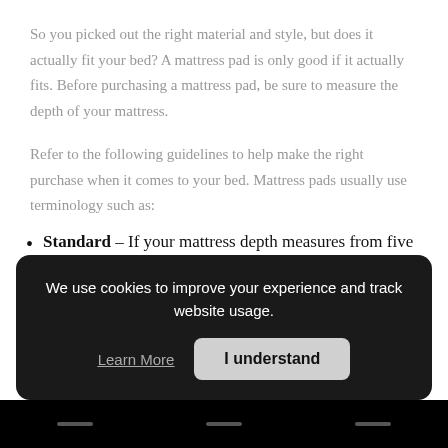So you picked out the right material and style, but does it actually fit your bed? A mattress pad is only good if it actually fits. Before purchasing a mattress pad, be sure to measure the depth of your mattress.
Refer to the following guidelines to help make the right purchase when it comes to your bed. Mattress pads usually use terminology such as:
Standard – If your mattress depth measures from five to 12 inches, look for a "standard" pad.
We use cookies to improve your experience and track website usage.
Learn More  I understand